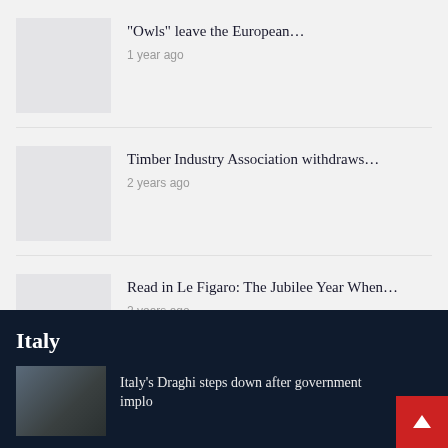“Owls” leave the European… | 1 year ago
Timber Industry Association withdraws… | 2 years ago
Read in Le Figaro: The Jubilee Year When… | 2 years ago
< PREV   NEXT >   1 of 210
Italy
Italy’s Draghi steps down after government implo…